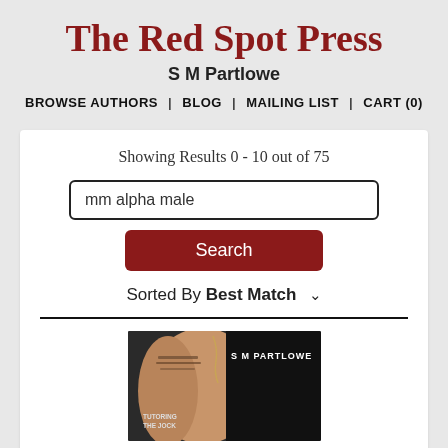The Red Spot Press
S M Partlowe
BROWSE AUTHORS  |  BLOG  |  MAILING LIST  |  CART (0)
Showing Results 0 - 10 out of 75
mm alpha male
Search
Sorted By  Best Match
[Figure (photo): Book cover image showing a muscular torso/arm with tattoos, dark background, text reading 'S M PARTLOWE' and partial text 'TUTORING THE JOCK']